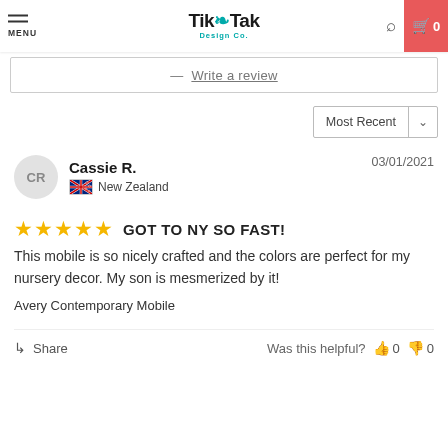MENU | TikTak Design Co. | (search) | Cart 0
— Write a review
Most Recent ∨
Cassie R.   03/01/2021   🇳🇿 New Zealand
★★★★★  GOT TO NY SO FAST!
This mobile is so nicely crafted and the colors are perfect for my nursery decor. My son is mesmerized by it!
Avery Contemporary Mobile
Share   Was this helpful? 👍 0 👎 0